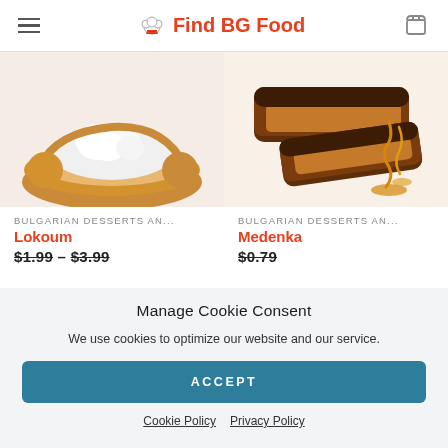Find BG Food
[Figure (photo): Photo of Lokoum – a round pastry filled with white cream in a wooden bowl]
[Figure (photo): Photo of Medenka – chocolate-coated honey biscuits with caramel drizzle]
BULGARIAN DESSERTS AN...
Lokoum
$1.99 – $3.99
BULGARIAN DESSERTS AN...
Medenka
$0.79
Manage Cookie Consent
We use cookies to optimize our website and our service.
ACCEPT
Cookie Policy  Privacy Policy